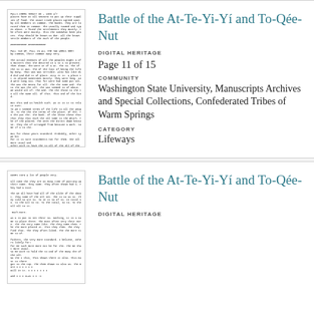[Figure (other): Thumbnail of a scanned handwritten or typewritten document page]
Battle of the At-Te-Yi-Yí and To-Qée-Nut
DIGITAL HERITAGE
Page 11 of 15
COMMUNITY
Washington State University, Manuscripts Archives and Special Collections, Confederated Tribes of Warm Springs
CATEGORY
Lifeways
[Figure (other): Thumbnail of a scanned typewritten document page, second entry]
Battle of the At-Te-Yi-Yí and To-Qée-Nut
DIGITAL HERITAGE